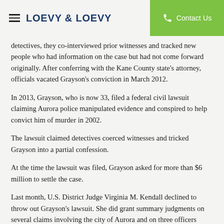LOEVY & LOEVY | Contact Us
detectives, they co-interviewed prior witnesses and tracked new people who had information on the case but had not come forward originally. After conferring with the Kane County state's attorney, officials vacated Grayson's conviction in March 2012.
In 2013, Grayson, who is now 33, filed a federal civil lawsuit claiming Aurora police manipulated evidence and conspired to help convict him of murder in 2002.
The lawsuit claimed detectives coerced witnesses and tricked Grayson into a partial confession.
At the time the lawsuit was filed, Grayson asked for more than $6 million to settle the case.
Last month, U.S. District Judge Virginia M. Kendall declined to throw out Grayson's lawsuit. She did grant summary judgments on several claims involving the city of Aurora and on three officers named as defendants. But she held that Grayson is entitled to pursue claims that the officers violated his right to due process.
The case was scheduled to go to trial Feb. 16 but will not now